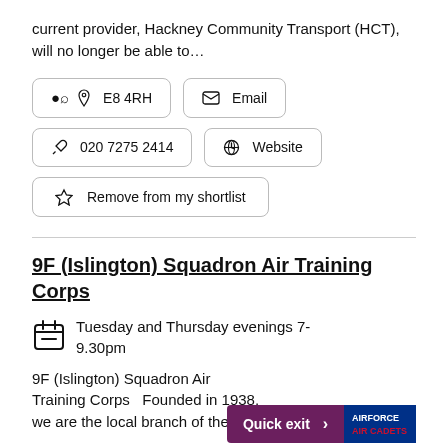current provider, Hackney Community Transport (HCT), will no longer be able to…
📍 E8 4RH   ✉ Email
📞 020 7275 2414   🔗 Website
☆ Remove from my shortlist
9F (Islington) Squadron Air Training Corps
Tuesday and Thursday evenings 7-9.30pm
9F (Islington) Squadron Air Training Corps   Founded in 1938, we are the local branch of the…
Quick exit >